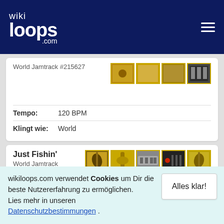wikiloops.com
World Jamtrack #215627
Tempo: 120 BPM
Klingt wie: World
Just Fishin'
World Jamtrack #215679
Tempo: 120 BPM
wikiloops.com verwendet Cookies um Dir die beste Nutzererfahrung zu ermöglichen.
Lies mehr in unseren Datenschutzbestimmungen .